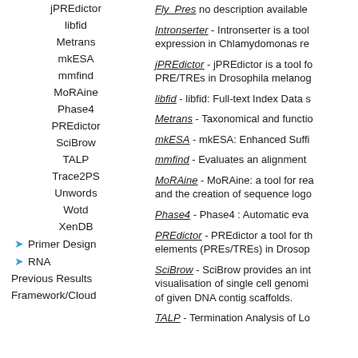jPREdictor
libfid
Metrans
mkESA
mmfind
MoRAine
Phase4
PREdictor
SciBrow
TALP
Trace2PS
Unwords
Wotd
XenDB
Primer Design
RNA
Previous Results
Framework/Cloud
Fly_Pres no description available
Intronserter - Intronserter is a tool expression in Chlamydomonas re
jPREdictor - jPREdictor is a tool fo PRE/TREs in Drosophila melanog
libfid - libfid: Full-text Index Data s
Metrans - Taxonomical and functio
mkESA - mkESA: Enhanced Suffi
mmfind - Evaluates an alignment
MoRAine - MoRAine: a tool for rea and the creation of sequence logo
Phase4 - Phase4 : Automatic eva
PREdictor - PREdictor a tool for th elements (PREs/TREs) in Drosop
SciBrow - SciBrow provides an int visualisation of single cell genomi of given DNA contig scaffolds.
TALP - Termination Analysis of Lo